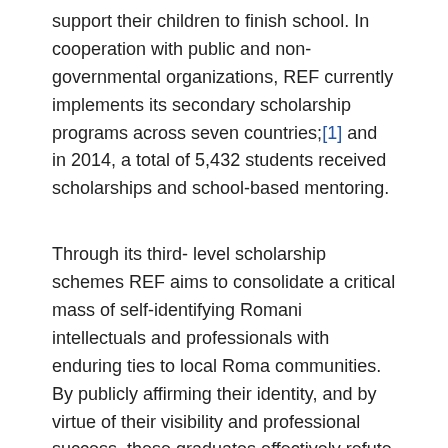support their children to finish school. In cooperation with public and non-governmental organizations, REF currently implements its secondary scholarship programs across seven countries;[1] and in 2014, a total of 5,432 students received scholarships and school-based mentoring.
Through its third- level scholarship schemes REF aims to consolidate a critical mass of self-identifying Romani intellectuals and professionals with enduring ties to local Roma communities. By publicly affirming their identity, and by virtue of their visibility and professional success, these graduates effectively refute negative anti-Roma stereotypes, and serve as role models not only for their peers but for everybody. Since 2005 almost 7,000 Roma university students from 15 countries have received scholarship support.
Over these ten years REF has constantly adapted to respond to changes and challenges in different national education systems, and to